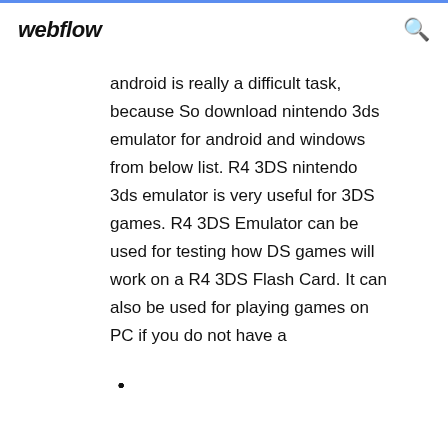webflow
android is really a difficult task, because So download nintendo 3ds emulator for android and windows from below list. R4 3DS nintendo 3ds emulator is very useful for 3DS games. R4 3DS Emulator can be used for testing how DS games will work on a R4 3DS Flash Card. It can also be used for playing games on PC if you do not have a